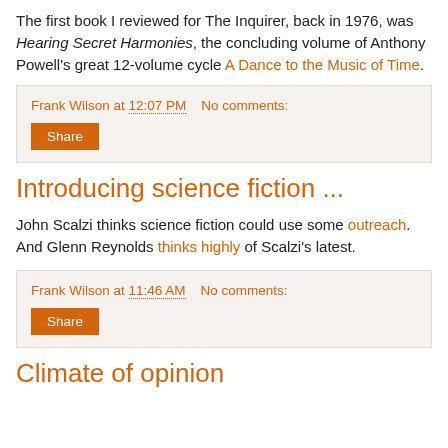The first book I reviewed for The Inquirer, back in 1976, was Hearing Secret Harmonies, the concluding volume of Anthony Powell's great 12-volume cycle A Dance to the Music of Time.
Frank Wilson at 12:07 PM   No comments:
Share
Introducing science fiction ...
John Scalzi thinks science fiction could use some outreach. And Glenn Reynolds thinks highly of Scalzi's latest.
Frank Wilson at 11:46 AM   No comments:
Share
Climate of opinion